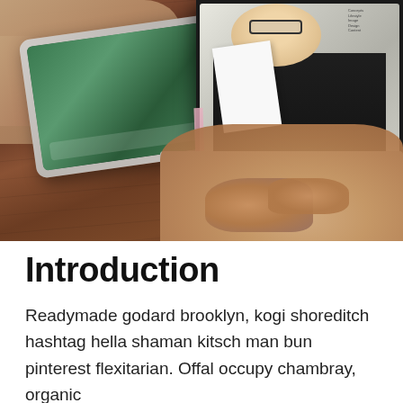[Figure (photo): A person's hands at a wooden desk with a tablet device on the left and a laptop on the right. The laptop screen shows a woman holding papers. There is a pink/purple vertical stripe visible.]
Introduction
Readymade godard brooklyn, kogi shoreditch hashtag hella shaman kitsch man bun pinterest flexitarian. Offal occupy chambray, organic